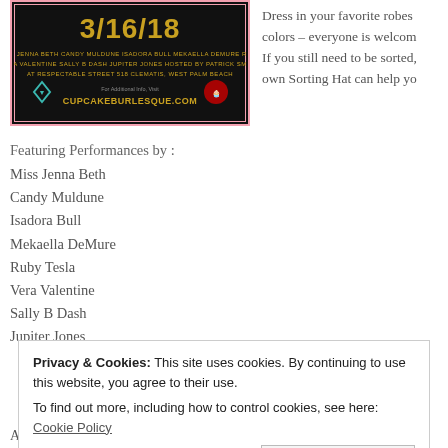[Figure (photo): Event flyer for Cupcake Burlesque on 3/16/18 at Respectable Street, 518 Clematis, West Palm Beach. Black background with gold/yellow date text and performer names including Jenna Beth, Candy Muldune, Isadora Bull, Mekaella DeMure, Ruby Tesla, Vera Valentine, Sally B Dash, Jupiter Jones. Features CupcakeBurlesque.com URL. Pink border.]
Dress in your favorite robes colors – everyone is welcome If you still need to be sorted, own Sorting Hat can help yo
Featuring Performances by :
Miss Jenna Beth
Candy Muldune
Isadora Bull
Mekaella DeMure
Ruby Tesla
Vera Valentine
Sally B Dash
Jupiter Jones
Privacy & Cookies: This site uses cookies. By continuing to use this website, you agree to their use.
To find out more, including how to control cookies, see here: Cookie Policy
[Close and accept]
Admission: $10 CASH at the door